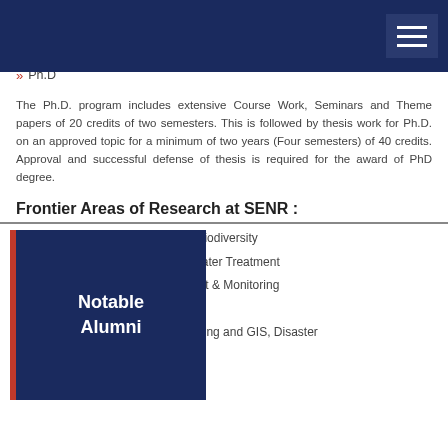M.Sc. Environmental Science (with specialization in Natural Resource Management (NRM))
M.Tech. Environmental Technology
Ph.D
The Ph.D. program includes extensive Course Work, Seminars and Theme papers of 20 credits of two semesters. This is followed by thesis work for Ph.D. on an approved topic for a minimum of two years (Four semesters) of 40 credits. Approval and successful defense of thesis is required for the award of PhD degree.
Frontier Areas of Research at SENR :
Soil-Plant-Microbe Interactions, Forest Ecology & Biodiversity
Water Resource Management, Ecotoxicology, Wastewater Treatment
Aquatic Biodiversity; Water Quality Assessment & Monitoring
Chemical Ecology Research
Geo-botany using Remote Sensing and GIS, Disaster
[Figure (other): Notable Alumni overlay box with dark navy background and red left border]